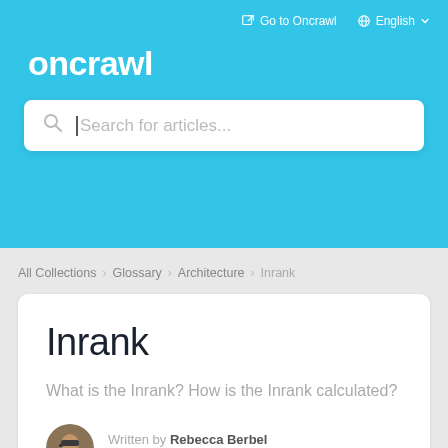Go to Oncrawl   English
oncrawl
[Figure (screenshot): Search bar with placeholder text 'Search for articles...']
All Collections > Glossary > Architecture > Inrank
Inrank
What is the Inrank? How is the Inrank calculated?
Written by Rebecca Berbel
Updated over a week ago